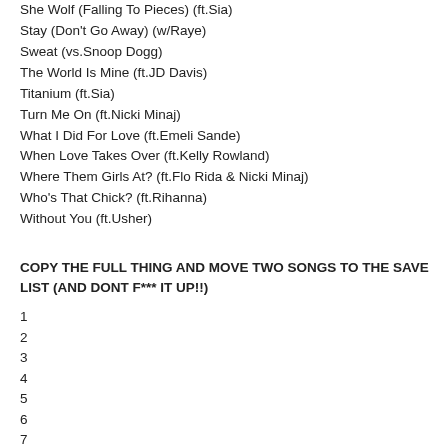She Wolf (Falling To Pieces) (ft.Sia)
Stay (Don't Go Away) (w/Raye)
Sweat (vs.Snoop Dogg)
The World Is Mine (ft.JD Davis)
Titanium (ft.Sia)
Turn Me On (ft.Nicki Minaj)
What I Did For Love (ft.Emeli Sande)
When Love Takes Over (ft.Kelly Rowland)
Where Them Girls At? (ft.Flo Rida & Nicki Minaj)
Who's That Chick? (ft.Rihanna)
Without You (ft.Usher)
COPY THE FULL THING AND MOVE TWO SONGS TO THE SAVE LIST (AND DONT F*** IT UP!!)
1
2
3
4
5
6
7
8
9
10
11
12
13
14